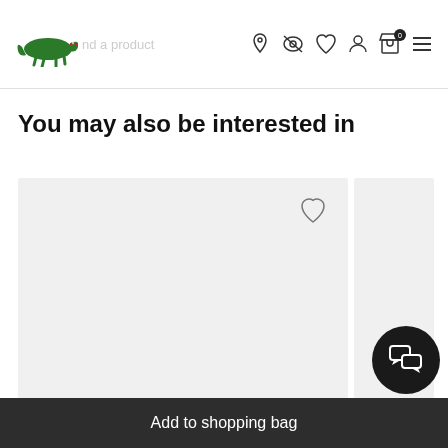[Figure (logo): Lacoste crocodile logo]
Find a product
You may also be interested in
[Figure (photo): Product card image placeholder (light gray background) with a wishlist heart icon in the top right corner]
[Figure (other): Live chat button (dark circle with chat icon)]
Add to shopping bag